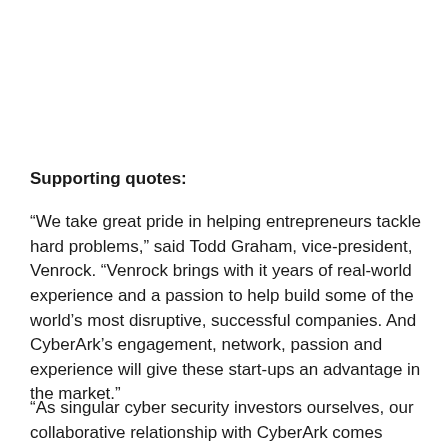Supporting quotes:
“We take great pride in helping entrepreneurs tackle hard problems,” said Todd Graham, vice-president, Venrock. “Venrock brings with it years of real-world experience and a passion to help build some of the world’s most disruptive, successful companies. And CyberArk’s engagement, network, passion and experience will give these start-ups an advantage in the market.”
“As singular cyber security investors ourselves, our collaborative relationship with CyberArk comes naturally,” said Ofer Schreiber, partner at YL Ventures.